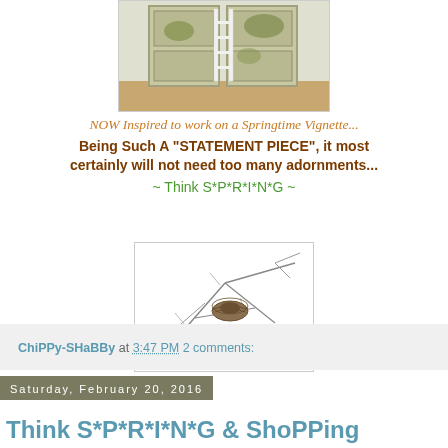[Figure (photo): Photo of distressed vintage doors with a white ladder, wooden floor visible, doors have peeling green/white paint giving a chippy shabby look]
NOW Inspired to work on a Springtime Vignette...
Being Such A "STATEMENT PIECE",  it most certainly will not need too many adornments...
~ Think S*P*R*I*N*G ~
[Figure (illustration): Black and white sketch illustration of a bird's nest nestled in tree branches, with handwritten signature 'jeanine' below the nest]
ChiPPy-SHaBBy at 3:47 PM    2 comments:
Saturday, February 20, 2016
Think S*P*R*I*N*G & ShoPPing